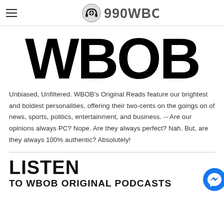990WBOB
[Figure (logo): Large stylized WBOB logo text in black on white background]
Unbiased, Unfiltered. WBOB's Original Reads feature our brightest and boldest personalities, offering their two-cents on the goings on of news, sports, politics, entertainment, and business. -- Are our opinions always PC? Nope. Are they always perfect? Nah. But, are they always 100% authentic? Absolutely!
LISTEN
TO WBOB ORIGINAL PODCASTS